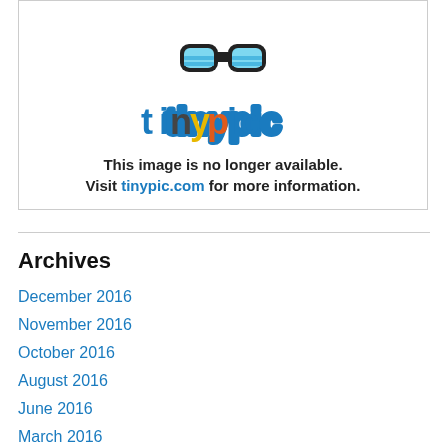[Figure (screenshot): Tinypic.com placeholder image with logo and message: 'This image is no longer available. Visit tinypic.com for more information.']
Archives
December 2016
November 2016
October 2016
August 2016
June 2016
March 2016
February 2016